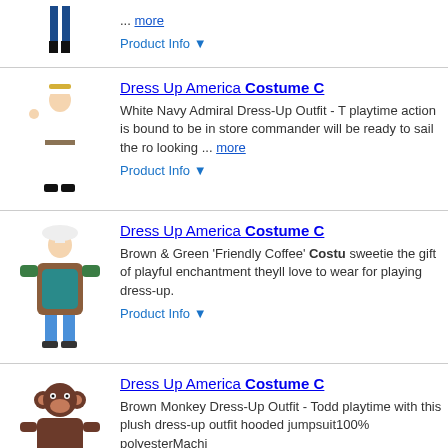... more
Product Info ▼
Dress Up America Costume C
White Navy Admiral Dress-Up Outfit - playtime action is bound to be in store commander will be ready to sail the ro looking ... more
Product Info ▼
Dress Up America Costume C
Brown & Green 'Friendly Coffee' Costu sweetie the gift of playful enchantment theyll love to wear for playing dress-up.
Product Info ▼
Dress Up America Costume C
Brown Monkey Dress-Up Outfit - Todd playtime with this plush dress-up outfit hooded jumpsuit100% polyesterMachi
Product Info ▼
Disguise Costume Outfits - Ha
Harry Potter Black & Blue Ravenclaw H Outfit your little sorcerer with this ench transport them to the grounds of Hogw the ... more
Product Info ▼